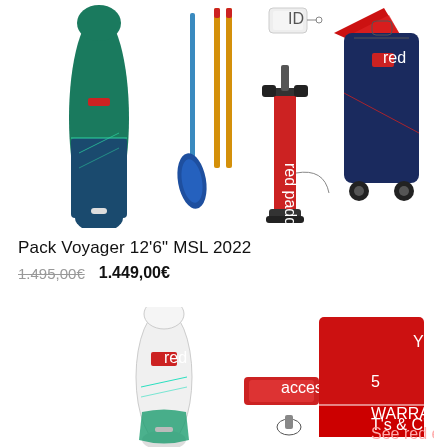[Figure (photo): Product flatlay of Pack Voyager 12'6" MSL 2022 SUP package including green inflatable paddleboard, paddle, pump, fins, carrying bag, and accessories on white background]
Pack Voyager 12'6" MSL 2022
1.495,00€  1.449,00€
[Figure (photo): Product image of a white and green Red branded inflatable SUP board shown from front, with accessories including a leash and paddle, plus a 5 Year Warranty badge in red]